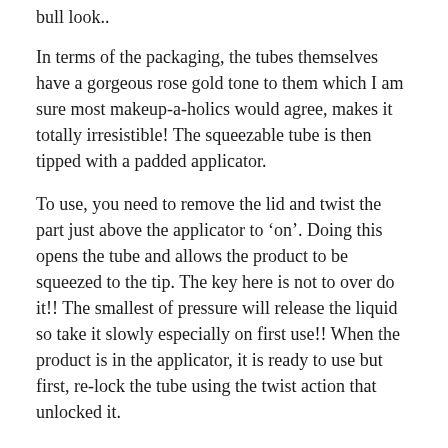bull look..
In terms of the packaging, the tubes themselves have a gorgeous rose gold tone to them which I am sure most makeup-a-holics would agree, makes it totally irresistible!  The squeezable tube is then tipped with a padded applicator.
To use, you need to remove the lid and twist the part just above the applicator to ‘on’.  Doing this opens the tube and allows the product to be squeezed to the tip.  The key here is not to over do it!!  The smallest of pressure will release the liquid so take it slowly especially on first use!!  When the product is in the applicator, it is ready to use but first, re-lock the tube using the twist action that unlocked it.